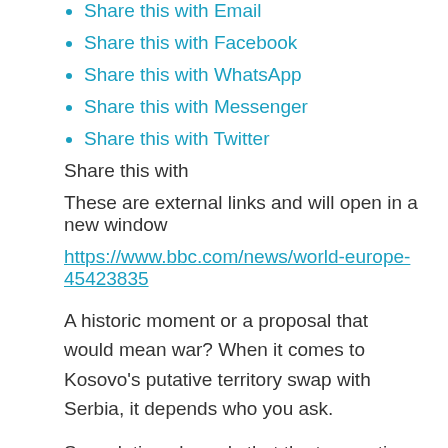Share this with Email
Share this with Facebook
Share this with WhatsApp
Share this with Messenger
Share this with Twitter
Share this with
These are external links and will open in a new window
https://www.bbc.com/news/world-europe-45423835
A historic moment or a proposal that would mean war? When it comes to Kosovo's putative territory swap with Serbia, it depends who you ask.
Speculation abounds that the two parties could make the concept official as early as Friday, when their presidents meet for scheduled talks in Brussels.
The idea seems simple